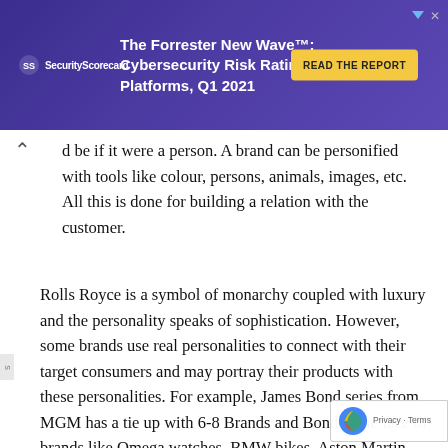[Figure (screenshot): SecurityScorecard advertisement banner for The Forrester New Wave: Cybersecurity Risk Rating Platforms, Q1 2021 with a READ THE REPORT button on a purple background]
d be if it were a person. A brand can be personified with tools like colour, persons, animals, images, etc. All this is done for building a relation with the customer.
Rolls Royce is a symbol of monarchy coupled with luxury and the personality speaks of sophistication. However, some brands use real personalities to connect with their target consumers and may portray their products with these personalities. For example, James Bond series from MGM has a tie up with 6-8 Brands and Bond is the face of brands like Omega watches, BMW bikes, Aston Martin cars, Sony Digital products, etc.
Some brands go a step further and sign up with leading celebrities like film stars, leading sports persons and important icons of the society. At times, individual personality's social image can have a negative backlash on the brand. For example, Tiger Woods is a classic example of how Nike and Accenture got